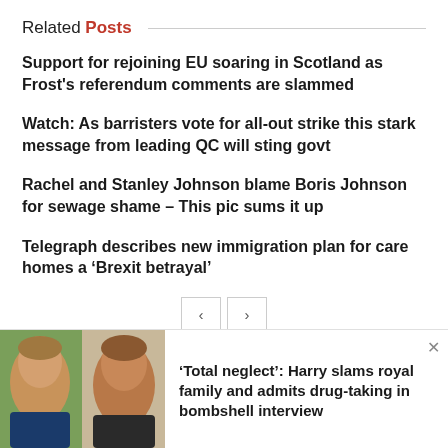Related Posts
Support for rejoining EU soaring in Scotland as Frost's referendum comments are slammed
Watch: As barristers vote for all-out strike this stark message from leading QC will sting govt
Rachel and Stanley Johnson blame Boris Johnson for sewage shame – This pic sums it up
Telegraph describes new immigration plan for care homes a ‘Brexit betrayal’
[Figure (other): Navigation previous/next buttons]
[Figure (photo): Photo of two men side by side, one older and one younger (Prince Harry and King Charles)]
‘Total neglect’: Harry slams royal family and admits drug-taking in bombshell interview